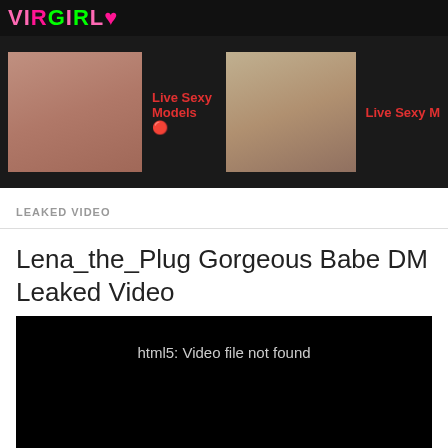VIRGIRL (logo)
[Figure (screenshot): Adult website ad banner with two thumbnail images and red text 'Live Sexy Models' and 'Live Sexy M' on dark background]
LEAKED VIDEO
Lena_the_Plug Gorgeous Babe DM Leaked Video
[Figure (screenshot): Black video player area showing error message: html5: Video file not found]